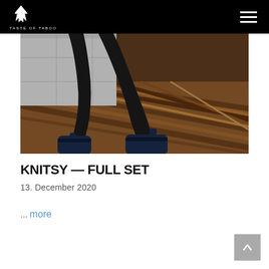TASTE OF TABOO
[Figure (photo): Close-up photo of a person's legs wearing dark stockings and navy blue high-heeled shoes, sitting on a white leather surface above a striped wood floor]
KNITSY — FULL SET
13. December 2020
... more